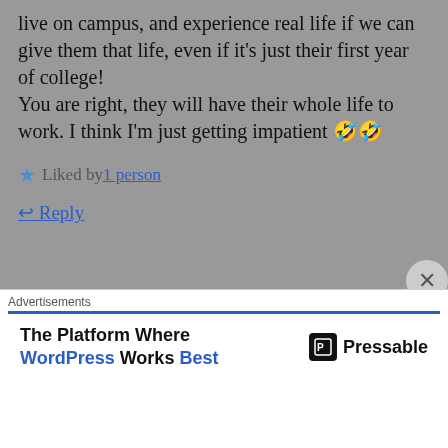live on campus, and experience real life if we can give them that life, even if it's just their first year of college!
You are right, they will have their whole life to work. I think I'm just getting impatient 🤣🤣
★ Liked by 1 person
↩ Reply
floatinggold
February 6, 2019 at 8:13 am
I can totally understand your point of view. It can't be easy. I think you will find the best
Advertisements
The Platform Where WordPress Works Best   Pressable